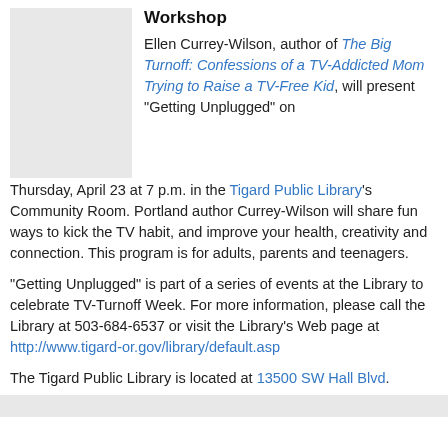Workshop
[Figure (photo): Gray placeholder image for an event or book cover]
Ellen Currey-Wilson, author of The Big Turnoff: Confessions of a TV-Addicted Mom Trying to Raise a TV-Free Kid, will present "Getting Unplugged" on Thursday, April 23 at 7 p.m. in the Tigard Public Library's Community Room. Portland author Currey-Wilson will share fun ways to kick the TV habit, and improve your health, creativity and connection. This program is for adults, parents and teenagers.
"Getting Unplugged" is part of a series of events at the Library to celebrate TV-Turnoff Week. For more information, please call the Library at 503-684-6537 or visit the Library's Web page at http://www.tigard-or.gov/library/default.asp
The Tigard Public Library is located at 13500 SW Hall Blvd.
Originally posted 4/8/2009